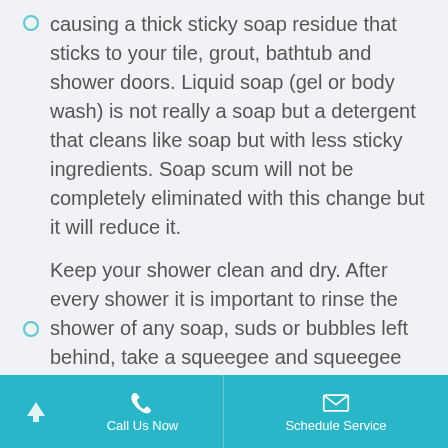causing a thick sticky soap residue that sticks to your tile, grout, bathtub and shower doors. Liquid soap (gel or body wash) is not really a soap but a detergent that cleans like soap but with less sticky ingredients. Soap scum will not be completely eliminated with this change but it will reduce it.
Keep your shower clean and dry. After every shower it is important to rinse the shower of any soap, suds or bubbles left behind, take a squeegee and squeegee the tile and shower doors. Finally take a towel and wipe off any remaining water. This may seem like a lot of work but these few minutes will save you hours of time and money when the time comes to
Call Us Now | Schedule Service